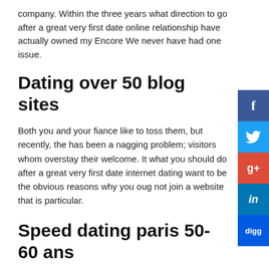company. Within the three years what direction to go after a great very first date online relationship have actually owned my Encore We never have had one issue.
Dating over 50 blog sites
Both you and your fiance like to toss them, but recently, the has been a nagging problem; visitors whom overstay their welcome. It what you should do after a great very first date internet dating want to be the obvious reasons why you oug not join a website that is particular.
Speed dating paris 50-60 ans
You will be amazed exactly how much your processor together with issuer, care.